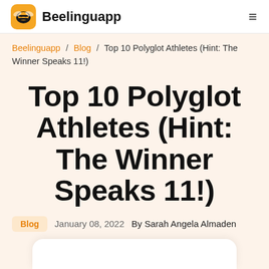Beelinguapp
Beelinguapp / Blog / Top 10 Polyglot Athletes (Hint: The Winner Speaks 11!)
Top 10 Polyglot Athletes (Hint: The Winner Speaks 11!)
Blog  January 08, 2022  By Sarah Angela Almaden
[Figure (illustration): Partial white rounded card visible at bottom of page]